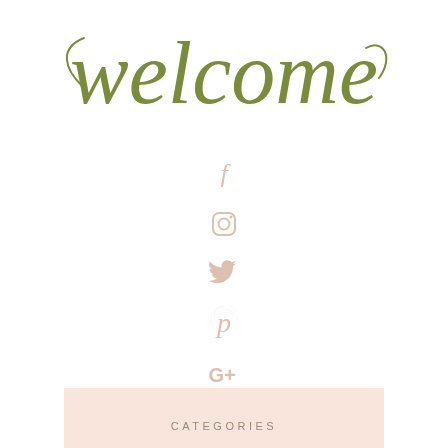welcome
[Figure (illustration): Social media icons vertically stacked: Facebook (f), Instagram (camera), Twitter (bird), Pinterest (p), Google+ (G+) in light beige/blush color]
CATEGORIES